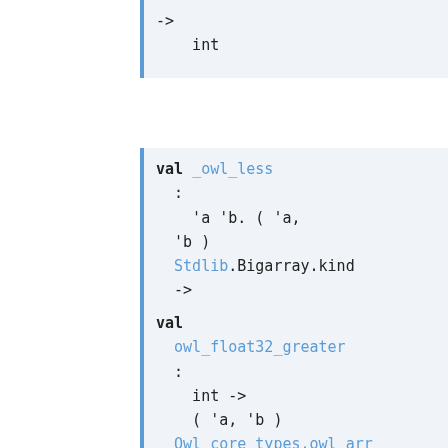-> int
val _owl_less : 'a 'b. ( 'a, 'b ) Stdlib.Bigarray.kind -> ( 'a, 'b ) Owl_core_types.owl_arr_
val owl_float32_greater : int -> ( 'a, 'b ) Owl_core_types.owl_arr_